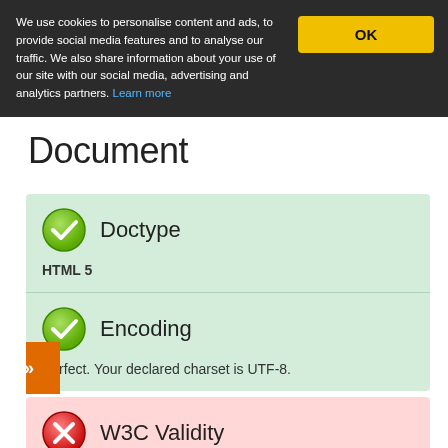We use cookies to personalise content and ads, to provide social media features and to analyse our traffic. We also share information about your use of our site with our social media, advertising and analytics partners. Learn more
Doctype — HTML 5
Encoding — Perfect. Your declared charset is UTF-8.
W3C Validity
Document